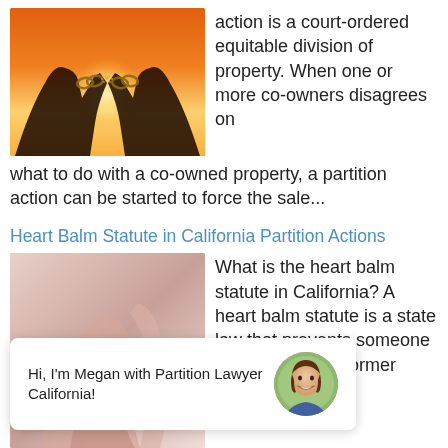[Figure (photo): Hands holding a broken chain silhouetted against a warm orange sunset sky]
action is a court-ordered equitable division of property. When one or more co-owners disagrees on what to do with a co-owned property, a partition action can be started to force the sale...
Heart Balm Statute in California Partition Actions
[Figure (photo): Close-up of hands, one with a ring, against a soft pink background]
What is the heart balm statute in California? A heart balm statute is a state law that prevents someone from suing their former romantic
Hi, I'm Megan with Partition Lawyer California!